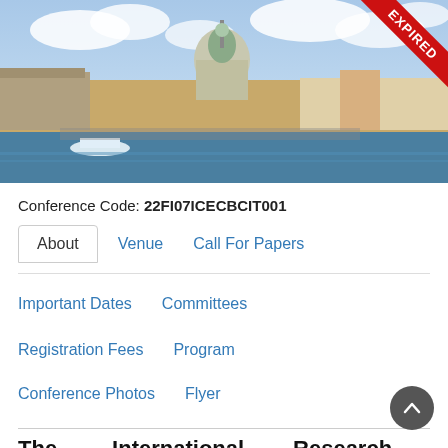[Figure (photo): Panoramic skyline photo of Helsinki waterfront with Helsinki Cathedral and colorful buildings under blue sky with clouds. An EXPIRED ribbon badge appears in the top-right corner.]
Conference Code: 22FI07ICECBCIT001
About   Venue   Call For Papers
Important Dates   Committees
Registration Fees   Program
Conference Photos   Flyer
The International Research Conference Aims and Objectives